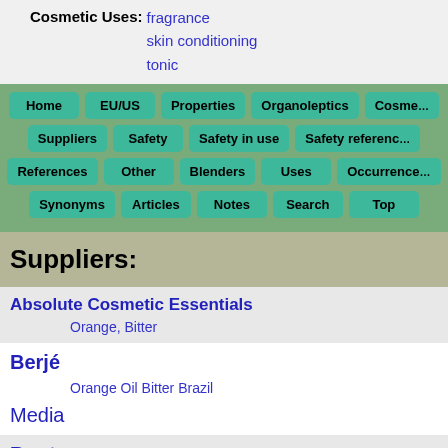Cosmetic Uses: fragrance, skin conditioning, tonic
Home | EU/US | Properties | Organoleptics | Cosme... | Suppliers | Safety | Safety in use | Safety referenc... | References | Other | Blenders | Uses | Occurrence... | Synonyms | Articles | Notes | Search | Top
Suppliers:
Absolute Cosmetic Essentials
  Orange, Bitter
Berjé
  Orange Oil Bitter Brazil
Media
Bontoux